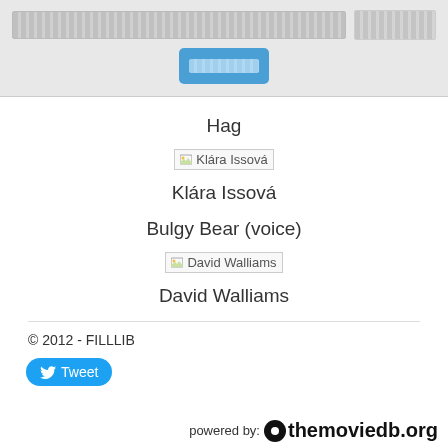[search bar and button UI]
Hag
[Figure (photo): Broken image placeholder for Klára Issová]
Klára Issová
Bulgy Bear (voice)
[Figure (photo): Broken image placeholder for David Walliams]
David Walliams
© 2012 - FILLLIB
Tweet
powered by: themoviedb.org